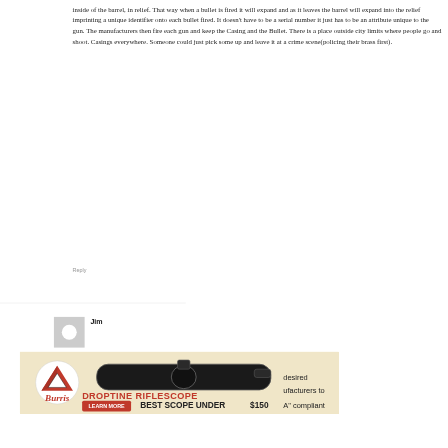inside of the barrel, in relief. That way when a bullet is fired it will expand and as it leaves the barrel will expand into the relief imprinting a unique identifier onto each bullet fired. It doesn't have to be a serial number it just has to be an attribute unique to the gun. The manufacturers then fire each gun and keep the Casing and the Bullet. There is a place outside city limits where people go and shoot. Casings everywhere. Someone could just pick some up and leave it at a crime scene(policing their brass first).
Reply
Jim
[Figure (infographic): Burris Droptine Riflescope advertisement banner with logo, rifle scope image, and text 'DROPTINE RIFLESCOPE BEST SCOPE UNDER $150 LEARN MORE']
desired
ufacturers to
A" compliant